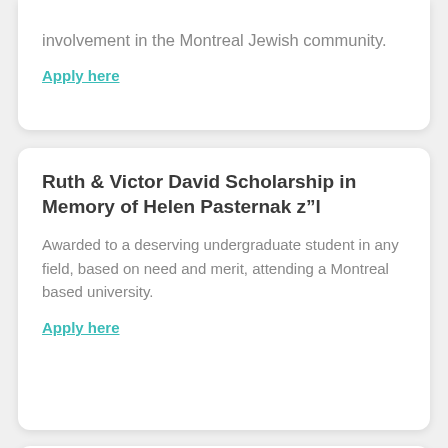involvement in the Montreal Jewish community.
Apply here
Ruth & Victor David Scholarship in Memory of Helen Pasternak z"l
Awarded to a deserving undergraduate student in any field, based on need and merit, attending a Montreal based university.
Apply here
Harry Hopmeyer Memorial Scholarship